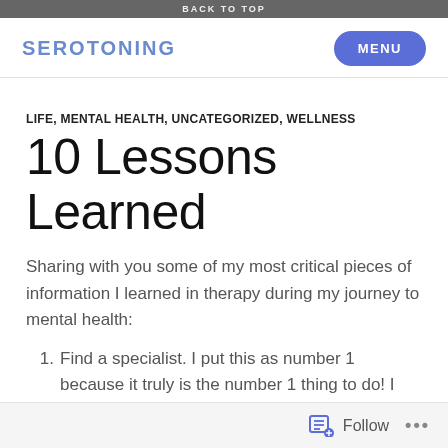BACK TO TOP
SEROTONING
LIFE, MENTAL HEALTH, UNCATEGORIZED, WELLNESS
10 Lessons Learned
Sharing with you some of my most critical pieces of information I learned in therapy during my journey to mental health:
Find a specialist. I put this as number 1 because it truly is the number 1 thing to do! I accredit all my success to my therapist now who knew how to tackle what I was struggling with. She really
Follow ...